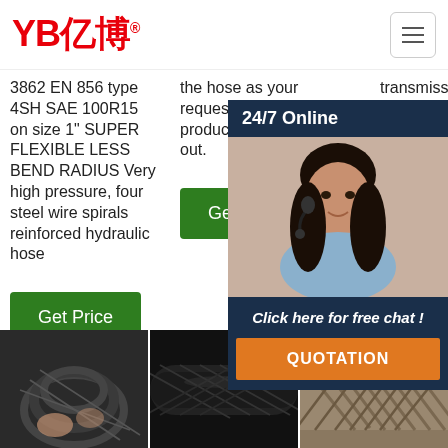YB亿博®
3862 EN 856 type 4SH SAE 100R15 on size 1" SUPER FLEXIBLE LESS BEND RADIUS Very high pressure, four steel wire spirals reinforced hydraulic hose
the hose as your request. * We test the products before shipped out.
transmission lines for use with petroleum or water-based fluids in hydraulic systems
[Figure (screenshot): 24/7 Online chat overlay with customer service representative photo, 'Click here for free chat!' text and QUOTATION button]
[Figure (photo): Three product photos of hydraulic hoses at bottom of page]